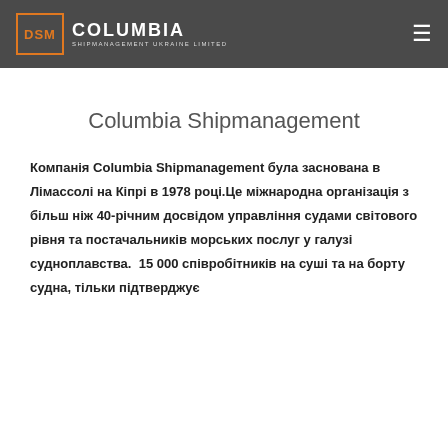DSM COLUMBIA SHIPMANAGEMENT UKRAINE LIMITED
Columbia Shipmanagement
Компанія Columbia Shipmanagement була заснована в Лімассолі на Кіпрі в 1978 році.Це міжнародна організація з більш ніж 40-річним досвідом управління судами світового рівня та постачальників морських послуг у галузі судноплавства.  15 000 співробітників на суші та на борту судна, тільки підтверджує